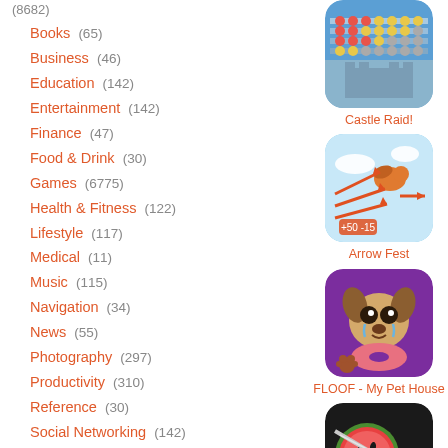(8682)
Books (65)
Business (46)
Education (142)
Entertainment (142)
Finance (47)
Food & Drink (30)
Games (6775)
Health & Fitness (122)
Lifestyle (117)
Medical (11)
Music (115)
Navigation (34)
News (55)
Photography (297)
Productivity (310)
Reference (30)
Social Networking (142)
Sports (28)
Travel (52)
Utilities (123)
Weather (37)
Parents and Kids (1020)
By Age Range (939)
[Figure (illustration): Castle Raid! app icon - blue/grey game screenshot showing castle siege]
Castle Raid!
[Figure (illustration): Arrow Fest app icon - sky blue background with arrows and bird]
Arrow Fest
[Figure (illustration): FLOOF - My Pet House app icon - purple background with cute dog]
FLOOF - My Pet House
[Figure (illustration): Fruit Ninja app icon - dark background with watermelon and blade]
Fruit Ninja®
[Figure (illustration): Partial app icon visible at bottom - pink/colorful game]